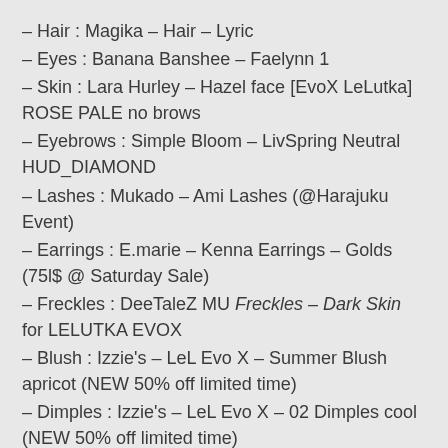– Hair : Magika – Hair – Lyric
– Eyes : Banana Banshee – Faelynn 1
– Skin : Lara Hurley – Hazel face [EvoX LeLutka] ROSE PALE no brows
– Eyebrows : Simple Bloom – LivSpring Neutral HUD_DIAMOND
– Lashes : Mukado – Ami Lashes (@Harajuku Event)
– Earrings : E.marie – Kenna Earrings – Golds (75l$ @ Saturday Sale)
– Freckles : DeeTaleZ MU Freckles – Dark Skin for LELUTKA EVOX
– Blush : Izzie's – LeL Evo X – Summer Blush apricot (NEW 50% off limited time)
– Dimples : Izzie's – LeL Evo X – 02 Dimples cool (NEW 50% off limited time)
– Lips : Cazimi – Kissable II HD Lips (Lelutka) HUD (75l$ @ Saturday Sale)